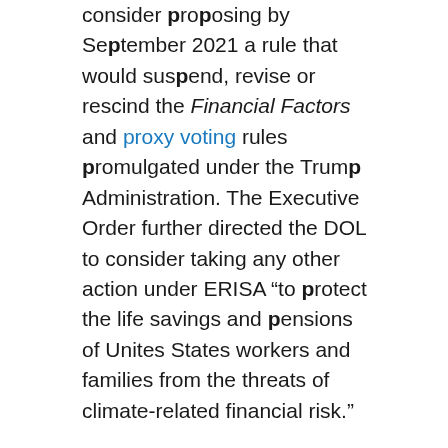consider proposing by September 2021 a rule that would suspend, revise or rescind the Financial Factors and proxy voting rules promulgated under the Trump Administration. The Executive Order further directed the DOL to consider taking any other action under ERISA “to protect the life savings and pensions of Unites States workers and families from the threats of climate-related financial risk.”
Should the legislation pass, it could provide fiduciaries limited additional comfort that the incorporation of ESG factors in their investment decision-making complies with ERISA’s fiduciary duties. The trend is toward incorporating ESG factors into an investment process for their effect on investment performance, and existing guidance, including the Financial Factors rule.